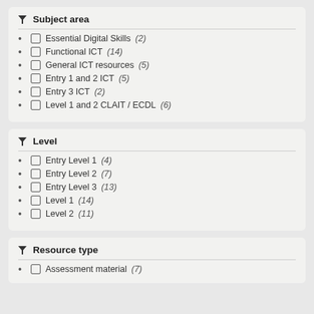Subject area
Essential Digital Skills (2)
Functional ICT (14)
General ICT resources (5)
Entry 1 and 2 ICT (5)
Entry 3 ICT (2)
Level 1 and 2 CLAIT / ECDL (6)
Level
Entry Level 1 (4)
Entry Level 2 (7)
Entry Level 3 (13)
Level 1 (14)
Level 2 (11)
Resource type
Assessment material (7)